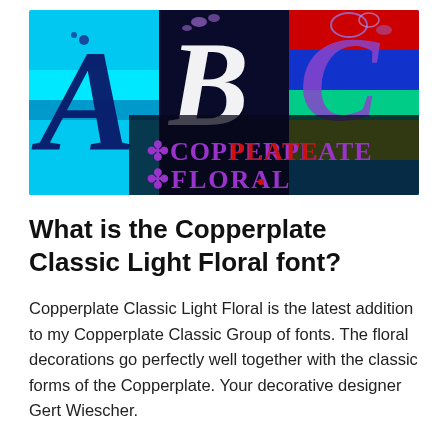[Figure (illustration): Decorative banner image showing ornate floral letters A, B, C in navy and purple on a colorful cyan/blue/red/green background with the text 'Copperplate Floral' in purple and red decorative lettering]
What is the Copperplate Classic Light Floral font?
Copperplate Classic Light Floral is the latest addition to my Copperplate Classic Group of fonts. The floral decorations go perfectly well together with the classic forms of the Copperplate. Your decorative designer Gert Wiescher.